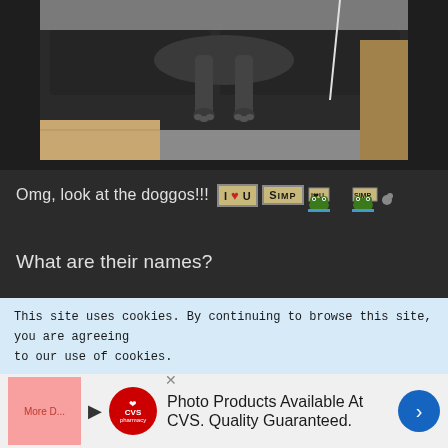[Figure (photo): Photo of dogs lying on a dark couch/sofa, viewed from above, with carpet visible below. Two dogs with dark fur, one showing paws.]
Omg, look at the doggos!!! I ❤ U  SIMP [with Pepe frog emotes]
What are their names?
[Figure (screenshot): A screenshot showing a snake game with green pixel snake and dollar sign, bright blue glow on right side.]
This site uses cookies. By continuing to browse this site, you are agreeing to our use of cookies.
Photo Products Available At CVS. Quality Guaranteed.